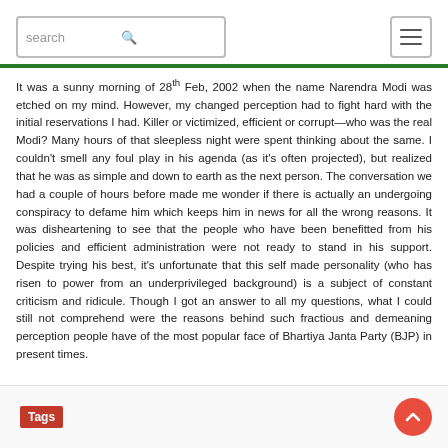search [search icon] [hamburger menu]
It was a sunny morning of 28th Feb, 2002 when the name Narendra Modi was etched on my mind. However, my changed perception had to fight hard with the initial reservations I had. Killer or victimized, efficient or corrupt—who was the real Modi? Many hours of that sleepless night were spent thinking about the same. I couldn't smell any foul play in his agenda (as it's often projected), but realized that he was as simple and down to earth as the next person. The conversation we had a couple of hours before made me wonder if there is actually an undergoing conspiracy to defame him which keeps him in news for all the wrong reasons. It was disheartening to see that the people who have been benefitted from his policies and efficient administration were not ready to stand in his support. Despite trying his best, it's unfortunate that this self made personality (who has risen to power from an underprivileged background) is a subject of constant criticism and ridicule. Though I got an answer to all my questions, what I could still not comprehend were the reasons behind such fractious and demeaning perception people have of the most popular face of Bhartiya Janta Party (BJP) in present times.
Tags